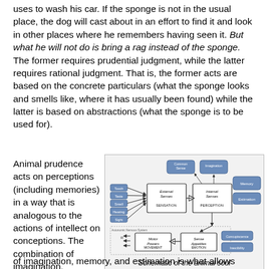uses to wash his car. If the sponge is not in the usual place, the dog will cast about in an effort to find it and look in other places where he remembers having seen it. But what he will not do is bring a rag instead of the sponge. The former requires prudential judgment, while the latter requires rational judgment. That is, the former acts are based on the concrete particulars (what the sponge looks and smells like, where it has usually been found) while the latter is based on abstractions (what the sponge is to be used for).
Animal prudence acts on perceptions (including memories) in a way that is analogous to the actions of intellect on conceptions. The combination of imagination, memory, and estimation is what allows many
[Figure (schematic): Schematic diagram of the animal soul showing External Senses (Touch, Taste, Smell, Hearing, Sight) feeding into Internal Senses (SENSATION → PERCEPTION), with Common Sense, Imagination, Memory, Estimation boxes, and Motor Powers/MOVEMENT connected to Sense Appetites/EMOTION (Concupiscence, Irascibility), all within Autonomic Nervous System boundary.]
Schematic of the animal soul